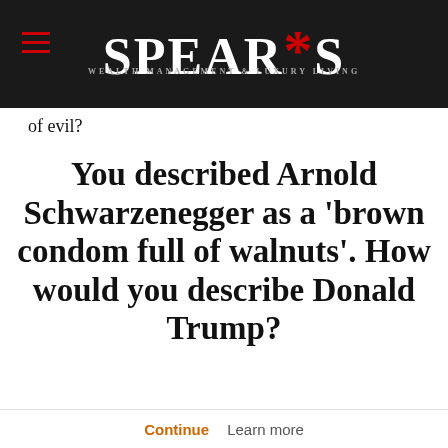SPEAR'S
of evil?
You described Arnold Schwarzenegger as a 'brown condom full of walnuts'. How would you describe Donald Trump?
Receive 4 glossy issues directly to your doorstep Subscribe
nit that the description. I s.
Continue   Learn more